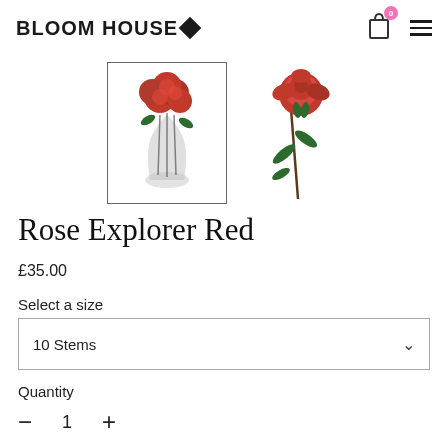BLOOM HOUSE
[Figure (photo): Red roses bouquet in a glass vase, product thumbnail with border]
[Figure (photo): Single red rose with stem and leaves, product thumbnail]
Rose Explorer Red
£35.00
Select a size
10 Stems
Quantity
- 1 +